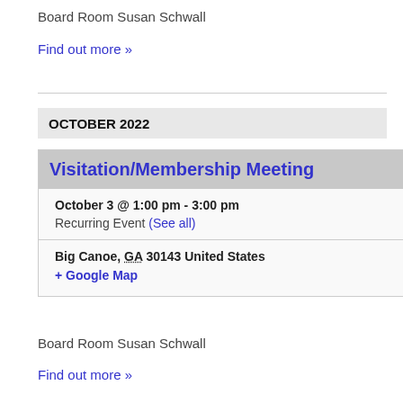Board Room Susan Schwall
Find out more »
OCTOBER 2022
Visitation/Membership Meeting
October 3 @ 1:00 pm - 3:00 pm
Recurring Event (See all)
Big Canoe, GA 30143 United States
+ Google Map
Board Room Susan Schwall
Find out more »